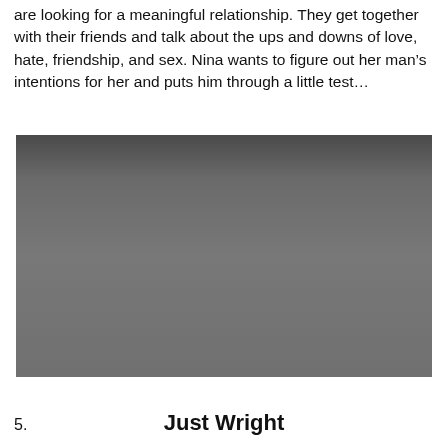are looking for a meaningful relationship. They get together with their friends and talk about the ups and downs of love, hate, friendship, and sex. Nina wants to figure out her man's intentions for her and puts him through a little test…
[Figure (photo): A dark gradient rectangular image, appearing as a movie or video thumbnail placeholder, with a gradient from dark gray at the top to medium gray at the bottom.]
5. Just Wright